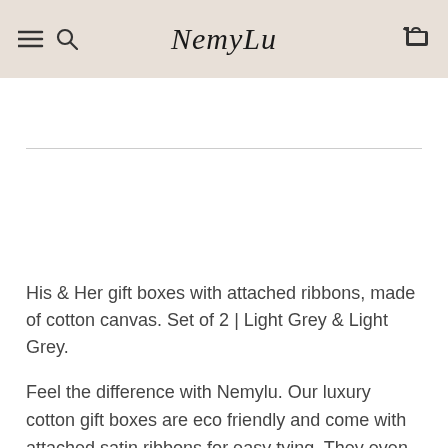NemyLu
His & Her gift boxes with attached ribbons, made of cotton canvas. Set of 2 | Light Grey & Light Grey.
Feel the difference with Nemylu. Our luxury cotton gift boxes are eco friendly and come with attached satin ribbons for easy tying. They even fold flat for storage, ready to wrap the next gift!
The perfect gift box set for shirts, sweaters, scarves and